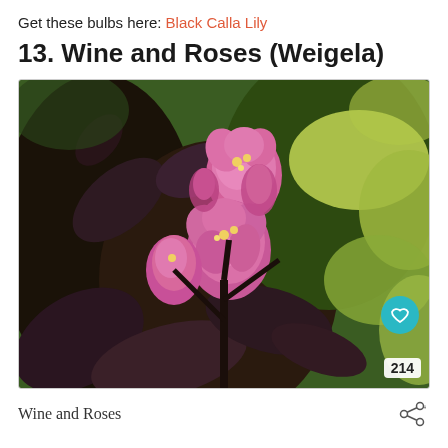Get these bulbs here: Black Calla Lily
13. Wine and Roses (Weigela)
[Figure (photo): Close-up photograph of Wine and Roses Weigela plant showing deep burgundy/dark purple leaves with bright pink tubular flowers in bloom, with yellowish-green foliage visible in the background. A teal heart/save button and a count of 214 are overlaid on the bottom right of the image.]
Wine and Roses